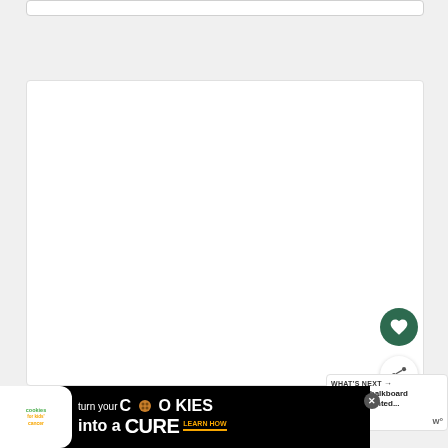[Figure (screenshot): Partial top of a white card/panel element visible at the top of the page]
[Figure (screenshot): Large white content/image area card, mostly blank white space representing a webpage content area]
[Figure (other): Dark green circular heart/favorite button]
[Figure (other): White circular share button with share icon and plus symbol]
WHAT'S NEXT → Chalkboard Painted...
[Figure (screenshot): Advertisement banner: 'cookies for kids cancer — turn your COOKIES into a CURE LEARN HOW' on black background with close button X]
[Figure (logo): Wordmark logo 'w°' in grey on right side]